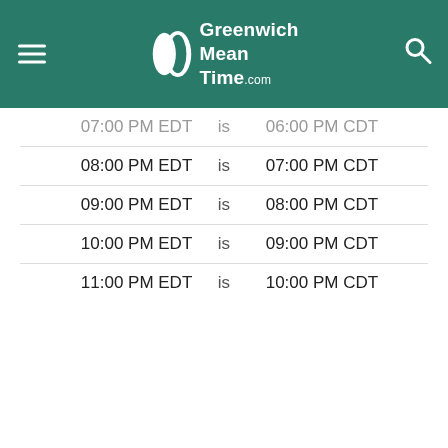Greenwich Mean Time .com
| 07:00 PM EDT | is | 06:00 PM CDT |
| 08:00 PM EDT | is | 07:00 PM CDT |
| 09:00 PM EDT | is | 08:00 PM CDT |
| 10:00 PM EDT | is | 09:00 PM CDT |
| 11:00 PM EDT | is | 10:00 PM CDT |